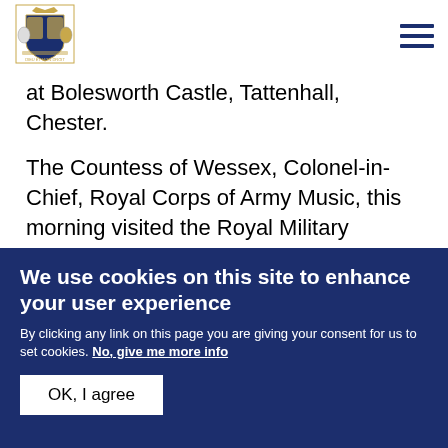[Royal Coat of Arms logo] [Hamburger menu icon]
at Bolesworth Castle, Tattenhall, Chester.
The Countess of Wessex, Colonel-in-Chief, Royal Corps of Army Music, this morning visited the Royal Military School of Music at Gibraltar Barracks, Minley, and was received by Her Majesty's Lord-Lieutenant of Hampshire (Mr. Nigel Atkinson).
We use cookies on this site to enhance your user experience
By clicking any link on this page you are giving your consent for us to set cookies. No, give me more info
OK, I agree